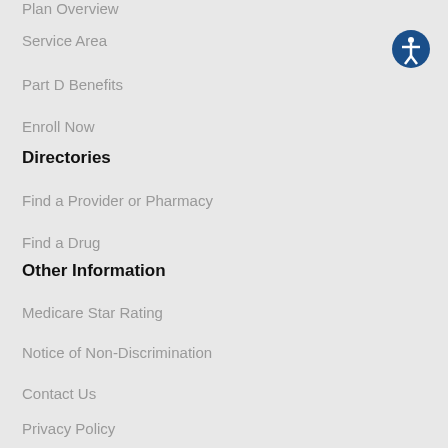Plan Overview
Service Area
Part D Benefits
Enroll Now
Directories
Find a Provider or Pharmacy
Find a Drug
Other Information
Medicare Star Rating
Notice of Non-Discrimination
Contact Us
Privacy Policy
Disclaimers
Compliance